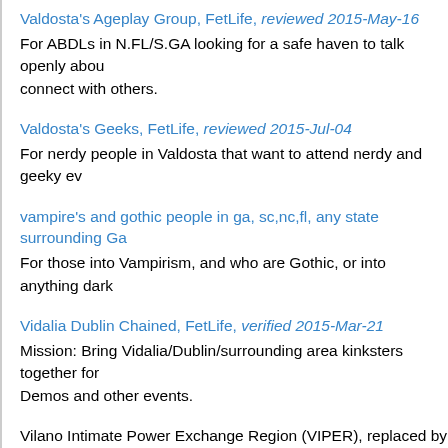Valdosta's Ageplay Group, FetLife, reviewed 2015-May-16
For ABDLs in N.FL/S.GA looking for a safe haven to talk openly about... connect with others.
Valdosta's Geeks, FetLife, reviewed 2015-Jul-04
For nerdy people in Valdosta that want to attend nerdy and geeky ev...
vampire's and gothic people in ga, sc,nc,fl, any state surrounding Ga...
For those into Vampirism, and who are Gothic, or into anything dark...
Vidalia Dublin Chained, FetLife, verified 2015-Mar-21
Mission: Bring Vidalia/Dublin/surrounding area kinksters together for... Demos and other events.
Vilano Intimate Power Exchange Region (VIPER), replaced by and s...
W.A.K. (West ATL Kinksters), FetLife, verified 2015-Mar-21
Social group. Getting together for drinks and conversation with like m...
West Ga East AL swing community, FetLife, reviewed 2015-Jun-17